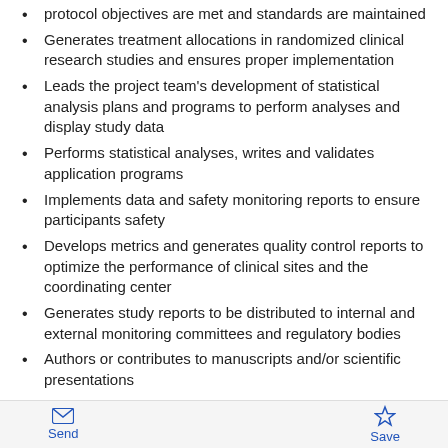protocol objectives are met and standards are maintained
Generates treatment allocations in randomized clinical research studies and ensures proper implementation
Leads the project team's development of statistical analysis plans and programs to perform analyses and display study data
Performs statistical analyses, writes and validates application programs
Implements data and safety monitoring reports to ensure participants safety
Develops metrics and generates quality control reports to optimize the performance of clinical sites and the coordinating center
Generates study reports to be distributed to internal and external monitoring committees and regulatory bodies
Authors or contributes to manuscripts and/or scientific presentations
Participates in professional development activities both within and outside the company
Send  Save